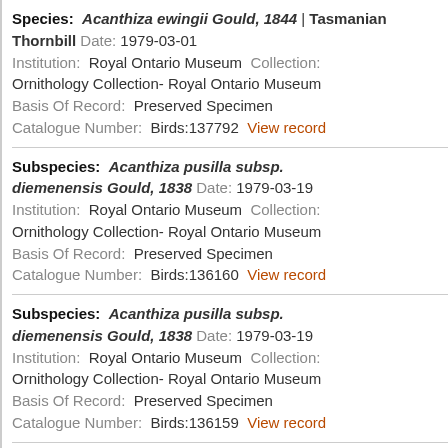Species: Acanthiza ewingii Gould, 1844 | Tasmanian Thornbill Date: 1979-03-01 Institution: Royal Ontario Museum Collection: Ornithology Collection- Royal Ontario Museum Basis Of Record: Preserved Specimen Catalogue Number: Birds:137792 View record
Subspecies: Acanthiza pusilla subsp. diemenensis Gould, 1838 Date: 1979-03-19 Institution: Royal Ontario Museum Collection: Ornithology Collection- Royal Ontario Museum Basis Of Record: Preserved Specimen Catalogue Number: Birds:136160 View record
Subspecies: Acanthiza pusilla subsp. diemenensis Gould, 1838 Date: 1979-03-19 Institution: Royal Ontario Museum Collection: Ornithology Collection- Royal Ontario Museum Basis Of Record: Preserved Specimen Catalogue Number: Birds:136159 View record